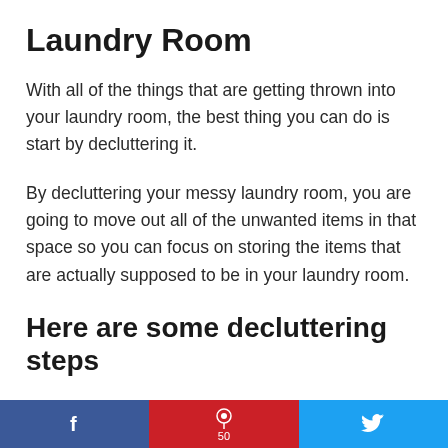Laundry Room
With all of the things that are getting thrown into your laundry room, the best thing you can do is start by decluttering it.
By decluttering your messy laundry room, you are going to move out all of the unwanted items in that space so you can focus on storing the items that are actually supposed to be in your laundry room.
Here are some decluttering steps
f | ♟ 50 | 𝕿